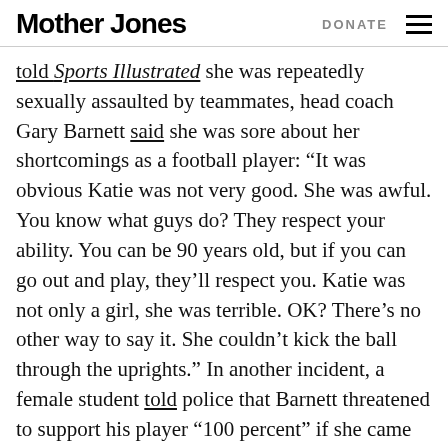Mother Jones | DONATE
told Sports Illustrated she was repeatedly sexually assaulted by teammates, head coach Gary Barnett said she was sore about her shortcomings as a football player: “It was obvious Katie was not very good. She was awful. You know what guys do? They respect your ability. You can be 90 years old, but if you can go out and play, they’ll respect you. Katie was not only a girl, she was terrible. OK? There’s no other way to say it. She couldn’t kick the ball through the uprights.” In another incident, a female student told police that Barnett threatened to support his player “100 percent” if she came forward with her rape allegation. Barnett was briefly suspended, but returned to the team for another